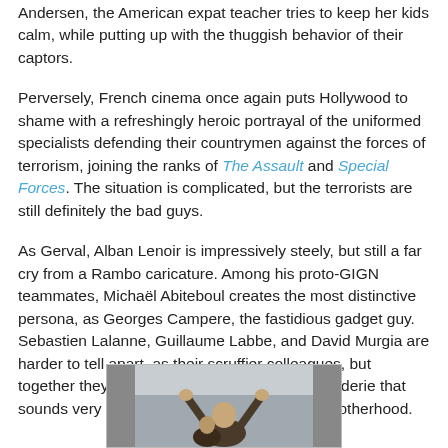Andersen, the American expat teacher tries to keep her kids calm, while putting up with the thuggish behavior of their captors.
Perversely, French cinema once again puts Hollywood to shame with a refreshingly heroic portrayal of the uniformed specialists defending their countrymen against the forces of terrorism, joining the ranks of The Assault and Special Forces. The situation is complicated, but the terrorists are still definitely the bad guys.
As Gerval, Alban Lenoir is impressively steely, but still a far cry from a Rambo caricature. Among his proto-GIGN teammates, Michaël Abiteboul creates the most distinctive persona, as Georges Campere, the fastidious gadget guy. Sebastien Lalanne, Guillaume Labbe, and David Murgia are harder to tell apart, as their scruffier colleagues, but together they develop a salty bantering camaraderie that sounds very to true to the spirit of uniformed brotherhood.
[Figure (photo): A partially visible photograph showing a person with hands raised, inside what appears to be an aircraft interior.]